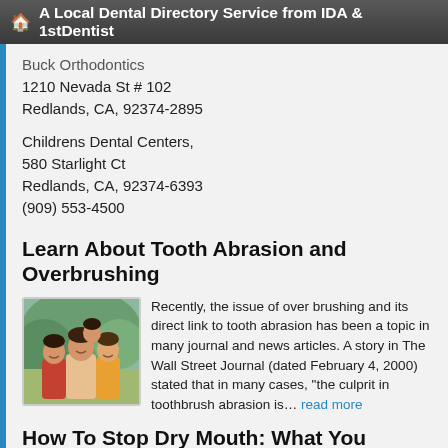A Local Dental Directory Service from IDA & 1stDentist
Buck Orthodontics
1210 Nevada St # 102
Redlands, CA, 92374-2895
Childrens Dental Centers,
580 Starlight Ct
Redlands, CA, 92374-6393
(909) 553-4500
Learn About Tooth Abrasion and Overbrushing
[Figure (photo): Family photo showing adults and child smiling outdoors]
Recently, the issue of over brushing and its direct link to tooth abrasion has been a topic in many journal and news articles. A story in The Wall Street Journal (dated February 4, 2000) stated that in many cases, "the culprit in toothbrush abrasion is... read more
How To Stop Dry Mouth: What You Should Know